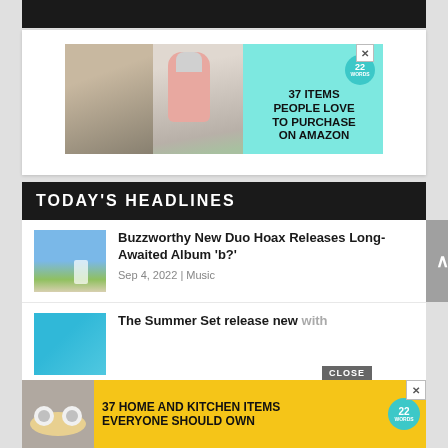[Figure (other): Dark navigation header bar]
[Figure (other): Advertisement banner with teal background showing two product photos and text '37 ITEMS PEOPLE LOVE TO PURCHASE ON AMAZON' with 22Words badge and close button]
TODAY'S HEADLINES
[Figure (photo): Thumbnail image showing two figures standing in a field with blue sky]
Buzzworthy New Duo Hoax Releases Long-Awaited Album 'b?'
Sep 4, 2022 | Music
[Figure (photo): Thumbnail image showing people with teal background]
The Summer Set release new with
[Figure (other): Bottom floating advertisement with yellow background: '37 HOME AND KITCHEN ITEMS EVERYONE SHOULD OWN' with 22Words badge, food photo, close button and CLOSE label]